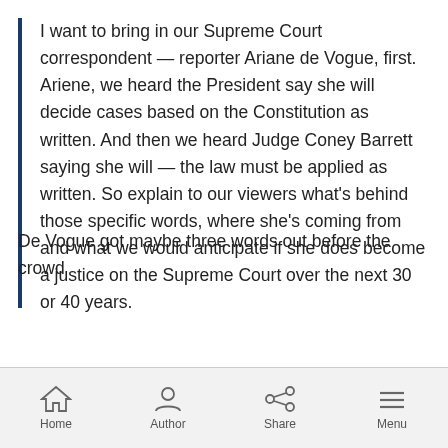I want to bring in our Supreme Court correspondent — reporter Ariane de Vogue, first. Ariene, we heard the President say she will decide cases based on the Constitution as written. And then we heard Judge Coney Barrett saying she will — the law must be applied as written. So explain to our viewers what's behind those specific words, where she's coming from and what we would anticipate if she does become a justice on the Supreme Court over the next 30 or 40 years.
De Vogue got maybe three words out before the crowd
Home | Author | Share | Menu